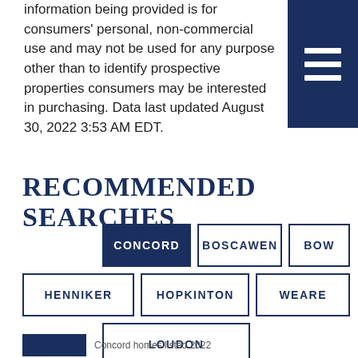information being provided is for consumers' personal, non-commercial use and may not be used for any purpose other than to identify prospective properties consumers may be interested in purchasing. Data last updated August 30, 2022 3:53 AM EDT.
RECOMMENDED SEARCHES
CONCORD
BOSCAWEN
BOW
HENNIKER
HOPKINTON
WEARE
LOUDON